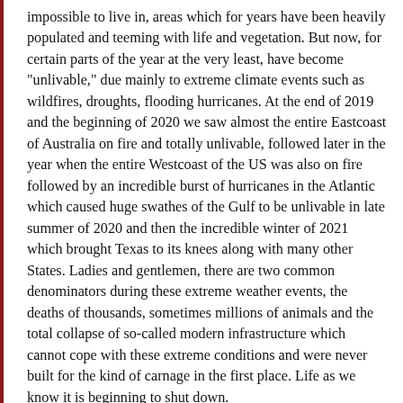impossible to live in, areas which for years have been heavily populated and teeming with life and vegetation. But now, for certain parts of the year at the very least, have become "unlivable," due mainly to extreme climate events such as wildfires, droughts, flooding hurricanes. At the end of 2019 and the beginning of 2020 we saw almost the entire Eastcoast of Australia on fire and totally unlivable, followed later in the year when the entire Westcoast of the US was also on fire followed by an incredible burst of hurricanes in the Atlantic which caused huge swathes of the Gulf to be unlivable in late summer of 2020 and then the incredible winter of 2021 which brought Texas to its knees along with many other States. Ladies and gentlemen, there are two common denominators during these extreme weather events, the deaths of thousands, sometimes millions of animals and the total collapse of so-called modern infrastructure which cannot cope with these extreme conditions and were never built for the kind of carnage in the first place. Life as we know it is beginning to shut down.
The population of mammals, birds, fish, amphibians